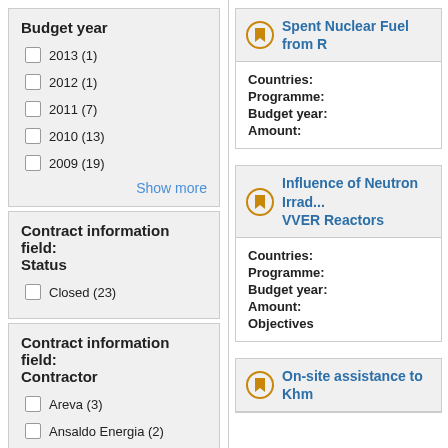Budget year
2013 (1)
2012 (1)
2011 (7)
2010 (13)
2009 (19)
Show more
Contract information field: Status
Closed (23)
Contract information field: Contractor
Areva (3)
Ansaldo Energia (2)
BERRY (2)
Iberdola (2)
Countries:
Programme:
Budget year:
Amount:
Spent Nuclear Fuel from R
Countries:
Programme:
Budget year:
Amount:
Objectives
Influence of Neutron Irrad... VVER Reactors
On-site assistance to Khm...